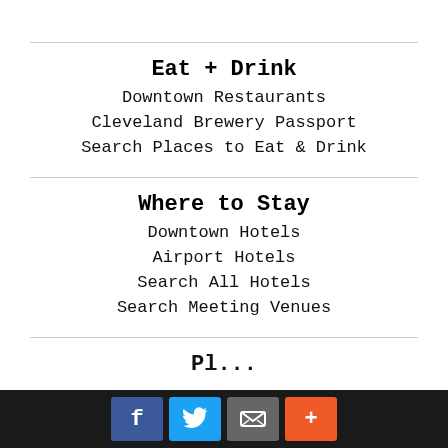Eat + Drink
Downtown Restaurants
Cleveland Brewery Passport
Search Places to Eat & Drink
Where to Stay
Downtown Hotels
Airport Hotels
Search All Hotels
Search Meeting Venues
Social share bar: Facebook, Twitter, Email, Plus